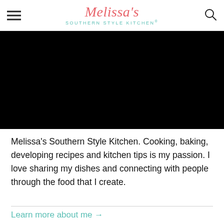Melissa's Southern Style Kitchen®
[Figure (photo): Black/dark hero image placeholder, full width]
Melissa's Southern Style Kitchen. Cooking, baking, developing recipes and kitchen tips is my passion. I love sharing my dishes and connecting with people through the food that I create.
Learn more about me →